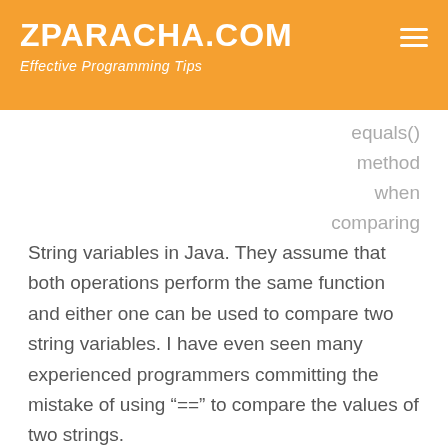ZPARACHA.COM — Effective Programming Tips
equals() method when comparing String variables in Java. They assume that both operations perform the same function and either one can be used to compare two string variables. I have even seen many experienced programmers committing the mistake of using "==" to compare the values of two strings.
So what is the difference between "==" and "equals()" and what is the correct method of comparing two string variables?